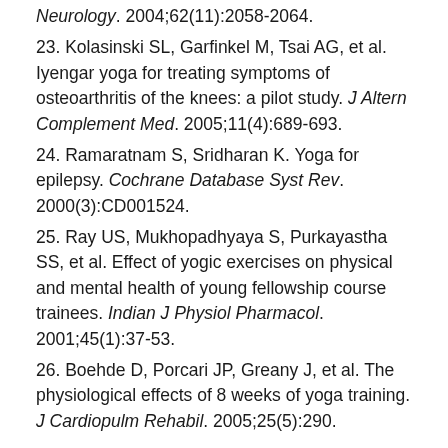Neurology. 2004;62(11):2058-2064.
23. Kolasinski SL, Garfinkel M, Tsai AG, et al. Iyengar yoga for treating symptoms of osteoarthritis of the knees: a pilot study. J Altern Complement Med. 2005;11(4):689-693.
24. Ramaratnam S, Sridharan K. Yoga for epilepsy. Cochrane Database Syst Rev. 2000(3):CD001524.
25. Ray US, Mukhopadhyaya S, Purkayastha SS, et al. Effect of yogic exercises on physical and mental health of young fellowship course trainees. Indian J Physiol Pharmacol. 2001;45(1):37-53.
26. Boehde D, Porcari JP, Greany J, et al. The physiological effects of 8 weeks of yoga training. J Cardiopulm Rehabil. 2005;25(5):290.
Share this: